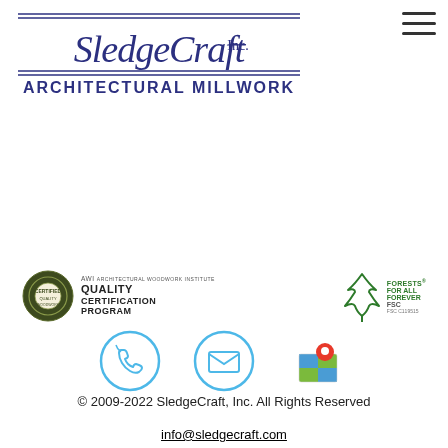[Figure (logo): SledgeCraft Inc. Architectural Millwork logo with decorative double-line border, serif italic company name and 'ARCHITECTURAL MILLWORK' in blue/navy]
[Figure (other): Hamburger navigation menu icon (three horizontal lines) in top right corner]
[Figure (other): AWI Quality Certification Program badge/seal on the left side of footer]
[Figure (other): FSC Forests For All Forever certification logo on the right side of footer]
[Figure (other): Three circular icons: telephone (blue circle), envelope/mail (blue circle), and Google Maps pin icon]
© 2009-2022 SledgeCraft, Inc. All Rights Reserved
info@sledgecraft.com